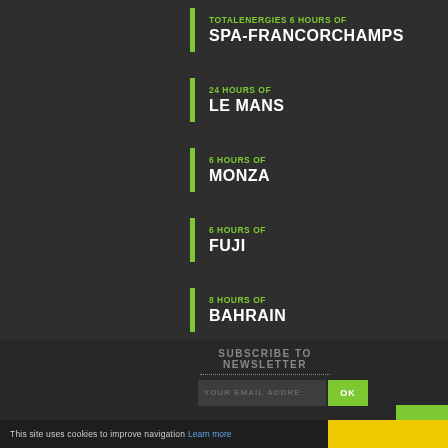TOTALENERGIES 6 HOURS OF SPA-FRANCORCHAMPS
24 HOURS OF LE MANS
6 HOURS OF MONZA
6 HOURS OF FUJI
8 HOURS OF BAHRAIN
SUBSCRIBE TO NEWSLETTER
YOUR EMAIL ADDRE:
OK
This site uses cookies to improve navigation Learn more